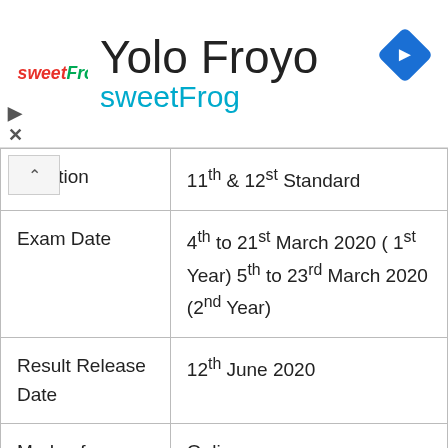[Figure (logo): Yolo Froyo sweetFrog advertisement banner with navigation icon]
| mination | 11th & 12th Standard |
| Exam Date | 4th to 21st March 2020 ( 1st Year) 5th to 23rd March 2020 (2nd Year) |
| Result Release Date | 12th June 2020 |
| Mode of Release | Online |
| Official |  |